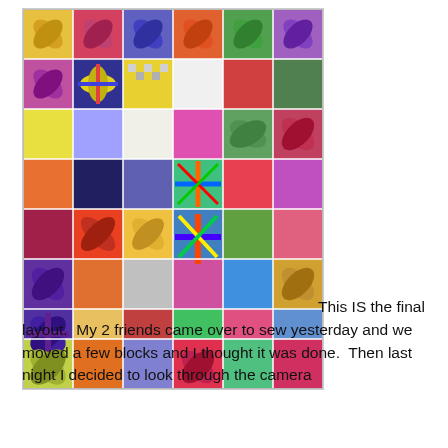[Figure (photo): A colorful patchwork quilt laid out flat, showing many different fabric patterns and colors arranged in a grid of blocks. The quilt features a variety of bright colors including reds, blues, greens, yellows, oranges, purples, and pinks. The blocks include star patterns, cross patterns, and curved petal designs.]
This IS the final layout.  My 2 friends came over to sew yesterday and we moved a few blocks and I thought it was done.  Then last night I decided to look through the camera